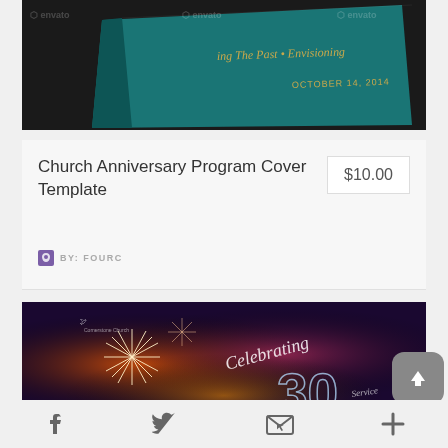[Figure (photo): Church anniversary program cover template product image showing a teal book cover with gold text reading partial title and date October 14, 2014, with Envato watermarks]
Church Anniversary Program Cover Template
$10.00
BY: FOURC
[Figure (photo): Church anniversary program cover showing fireworks, purple and orange colors, with text Celebrating 30 and Service]
f
Twitter bird icon
Email icon
Plus icon